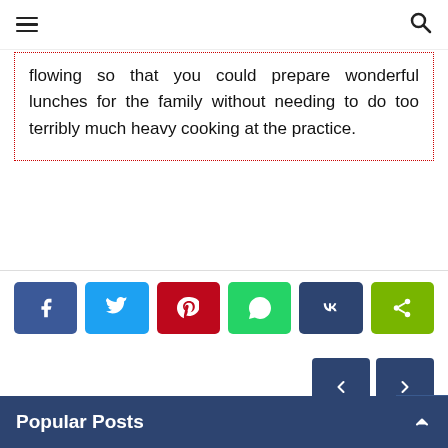hamburger menu | search icon
flowing so that you could prepare wonderful lunches for the family without needing to do too terribly much heavy cooking at the practice.
[Figure (other): Social share buttons: Facebook (blue), Twitter (light blue), Pinterest (red), WhatsApp (green), VK (dark blue), Share (green)]
[Figure (other): Previous and Next navigation arrow buttons (dark blue)]
Popular Posts